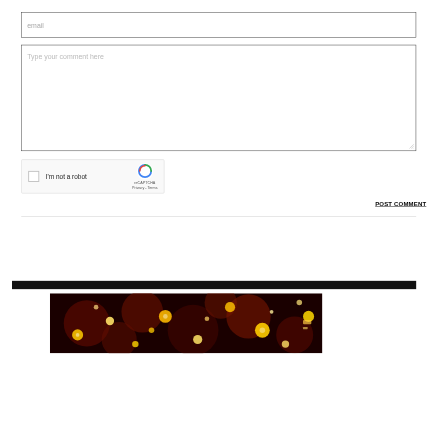[Figure (screenshot): Email input field with placeholder text 'email']
[Figure (screenshot): Comment textarea with placeholder text 'Type your comment here']
[Figure (screenshot): reCAPTCHA widget with checkbox labeled 'I'm not a robot' and reCAPTCHA logo with Privacy and Terms links]
POST COMMENT
[Figure (photo): Bokeh background image with dark red/orange background and glowing yellow/gold bokeh light circles]